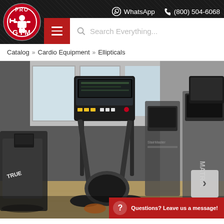PRO GYM | WhatsApp | (800) 504-6068
Catalog » Cardio Equipment » Ellipticals
[Figure (photo): Indoor gym showroom with multiple elliptical machines and cardio equipment lined up. Brands visible include TRUE, StairMaster, and MATRIX. Large windows in the background. A navigation arrow button is visible on the right side.]
Questions? Leave us a message!